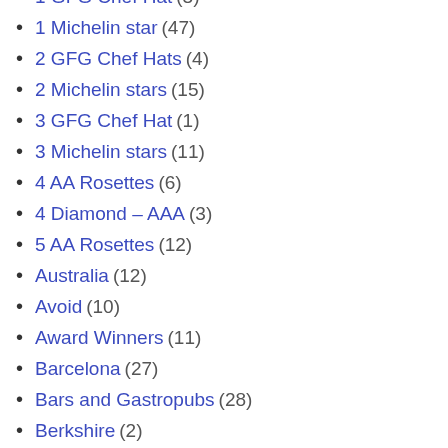1 GFG Chef Hat (3)
1 Michelin star (47)
2 GFG Chef Hats (4)
2 Michelin stars (15)
3 GFG Chef Hat (1)
3 Michelin stars (11)
4 AA Rosettes (6)
4 Diamond – AAA (3)
5 AA Rosettes (12)
Australia (12)
Avoid (10)
Award Winners (11)
Barcelona (27)
Bars and Gastropubs (28)
Berkshire (2)
Best of the best (29)
Bread and Beyond (16)